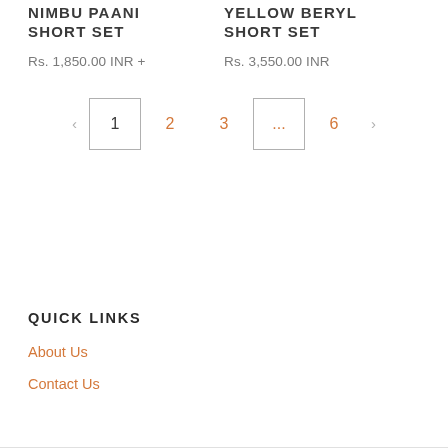NIMBU PAANI SHORT SET
Rs. 1,850.00 INR +
YELLOW BERYL SHORT SET
Rs. 3,550.00 INR
< 1 2 3 ... 6 >
QUICK LINKS
About Us
Contact Us